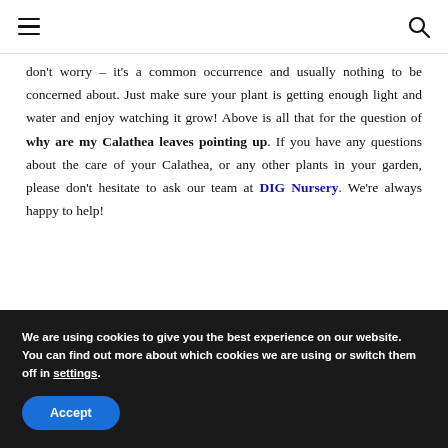≡  🔍
don't worry – it's a common occurrence and usually nothing to be concerned about. Just make sure your plant is getting enough light and water and enjoy watching it grow! Above is all that for the question of why are my Calathea leaves pointing up. If you have any questions about the care of your Calathea, or any other plants in your garden, please don't hesitate to ask our team at DIG Nursery. We're always happy to help!
We are using cookies to give you the best experience on our website.
You can find out more about which cookies we are using or switch them off in settings.
Accept